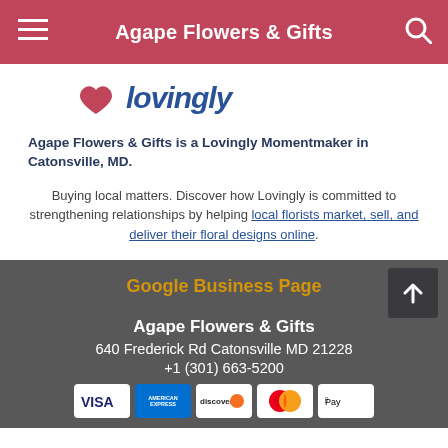Agape Flowers & Gifts
[Figure (logo): Lovingly logo with heart and text 'lovingly']
Agape Flowers & Gifts is a Lovingly Momentmaker in Catonsville, MD.
Buying local matters. Discover how Lovingly is committed to strengthening relationships by helping local florists market, sell, and deliver their floral designs online.
Google Business Page
Agape Flowers & Gifts
640 Frederick Rd Catonsville MD 21228
+1 (301) 663-5200
[Figure (other): Payment method icons: Visa, American Express, Discover, Mastercard, Apple Pay]